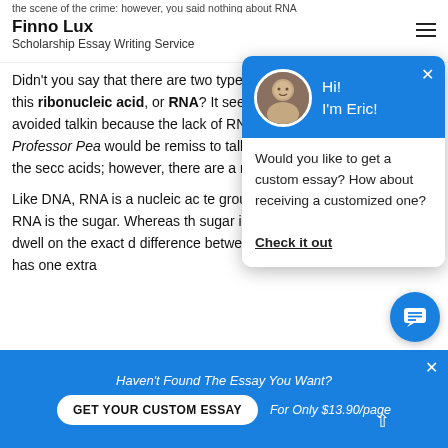Finno Lux
Scholarship Essay Writing Service
the scene of the crime: however, you said nothing about RNA
Didn't you say that there are two types of nucleic acids? What about this ribonucleic acid, or RNA? It seems like you've conspicuously avoided talking because the lack of RNA evi d to the crime? Professor Pea would be remiss to talk abou DNA. RNA is, in fact, the secc acids; however, there are a m between the two.First let's
Like DNA, RNA is a nucleic ac te group and a nitrogenous bas d RNA is the sugar. Whereas th sugar in RNA is ribose. Now, I won't dwell on the exact difference between the two sugars, but ribose has one extra
[Figure (screenshot): Chat popup with avatar photo of Eric, greeting 'Hi! I'm Eric!', message 'Would you like to get a custom essay? How about receiving a customized one?' and 'Check it out' link]
Haven't Found The Essay You Want?
GET YOUR CUSTOM ESSAY
For Only $13.90/page